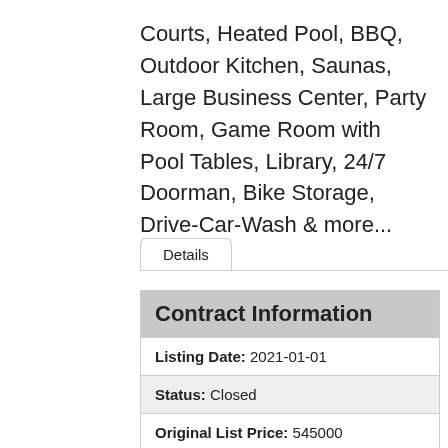Courts, Heated Pool, BBQ, Outdoor Kitchen, Saunas, Large Business Center, Party Room, Game Room with Pool Tables, Library, 24/7 Doorman, Bike Storage, Drive-Car-Wash & more...
Details
| Field | Value |
| --- | --- |
| Contract Information |  |
| Listing Date: | 2021-01-01 |
| Status: | Closed |
| Original List Price: | 545000 |
| Auction: | No |